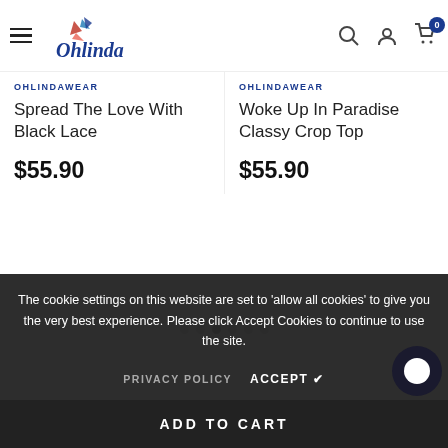Ohlinda — navigation header with hamburger menu, logo, search, account, and cart (0 items)
OHLINDAWEAR
Spread The Love With Black Lace
$55.90
OHLINDAWEAR
Woke Up In Paradise Classy Crop Top
$55.90
The cookie settings on this website are set to 'allow all cookies' to give you the very best experience. Please click Accept Cookies to continue to use the site.
PRIVACY POLICY   ACCEPT ✔
ADD TO CART